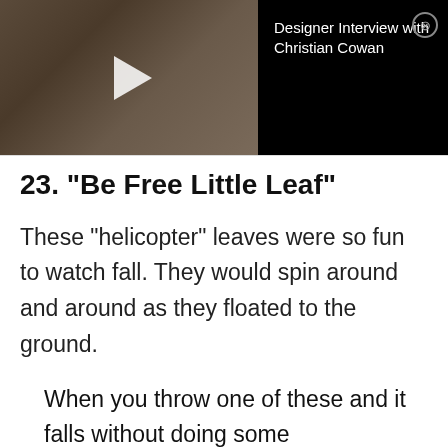[Figure (screenshot): Video player thumbnail showing two men, one speaking into a microphone, with a play button overlay. Title reads 'Designer Interview with Christian Cowan' with a close button.]
23. "Be Free Little Leaf"
These "helicopter" leaves were so fun to watch fall. They would spin around and around as they floated to the ground.
When you throw one of these and it falls without doing some